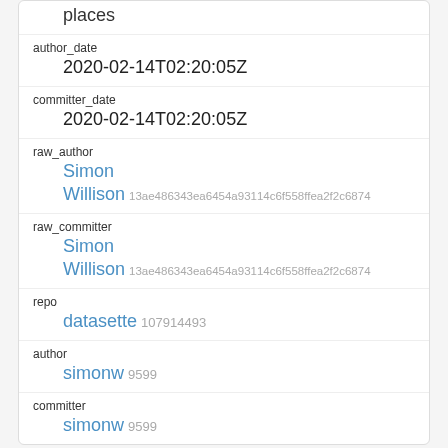| places |
| author_date | 2020-02-14T02:20:05Z |
| committer_date | 2020-02-14T02:20:05Z |
| raw_author | Simon
Willison 13ae486343ea6454a93114c6f558ffea2f2c6874 |
| raw_committer | Simon
Willison 13ae486343ea6454a93114c6f558ffea2f2c6874 |
| repo | datasette 107914493 |
| author | simonw 9599 |
| committer | simonw 9599 |
| sha |
| --- |
| efa54b439fd0394440c302602b919255047b59c5 |